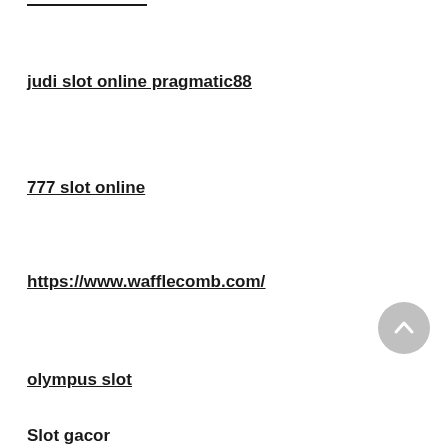judi slot online pragmatic88
777 slot online
https://www.wafflecomb.com/
olympus slot
Slot gacor